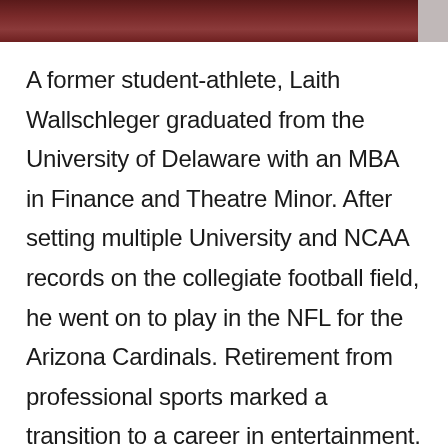[Figure (photo): Top portion of a photo showing a person in dark red/maroon clothing, cropped — only the lower fabric area is visible.]
A former student-athlete, Laith Wallschleger graduated from the University of Delaware with an MBA in Finance and Theatre Minor. After setting multiple University and NCAA records on the collegiate football field, he went on to play in the NFL for the Arizona Cardinals. Retirement from professional sports marked a transition to a career in entertainment.